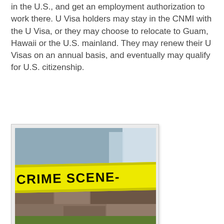in the U.S., and get an employment authorization to work there. U Visa holders may stay in the CNMI with the U Visa, or they may choose to relocate to Guam, Hawaii or the U.S. mainland. They may renew their U Visas on an annual basis, and eventually may qualify for U.S. citizenship.
[Figure (photo): A yellow crime scene tape reading 'CRIME SCENE-' stretched across a scene, photographed in a bordered frame.]
In order to get a U Visa, a victim must have suffered from a serious crime on this list:
rape,
torture,
trafficking,
incest,
domestic violence,